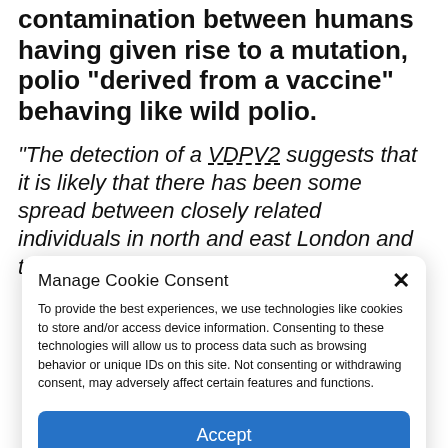contamination between humans having given rise to a mutation, polio “derived from a vaccine” behaving like wild polio.
“The detection of a VDPV2 suggests that it is likely that there has been some spread between closely related individuals in north and east London and that they are now
Manage Cookie Consent
To provide the best experiences, we use technologies like cookies to store and/or access device information. Consenting to these technologies will allow us to process data such as browsing behavior or unique IDs on this site. Not consenting or withdrawing consent, may adversely affect certain features and functions.
Accept
Cookie Policy